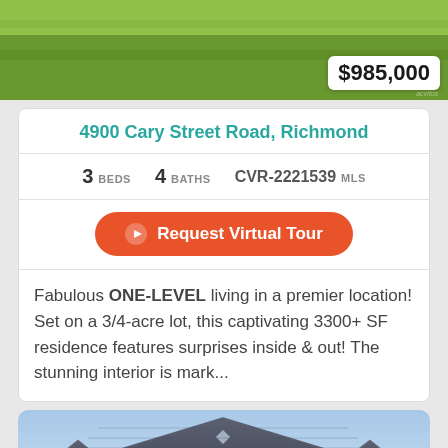[Figure (photo): Aerial/ground view of green lawn with $985,000 price badge overlay]
4900 Cary Street Road, Richmond
3 BEDS  4 BATHS  CVR-2221539 MLS
Request Virtual Tour
Fabulous ONE-LEVEL living in a premier location! Set on a 3/4-acre lot, this captivating 3300+ SF residence features surprises inside & out! The stunning interior is mark...
[Figure (photo): Exterior photo of a house with gray siding showing roof peaks against a blue sky]